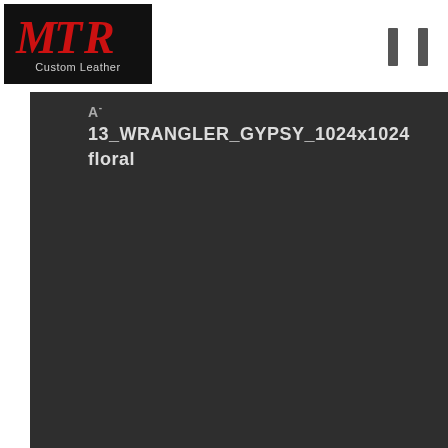[Figure (logo): MTR Custom Leather logo — dark background with red and white script letters MTR above the text Custom Leather]
A-
13_WRANGLER_GYPSY_1024x1024
floral